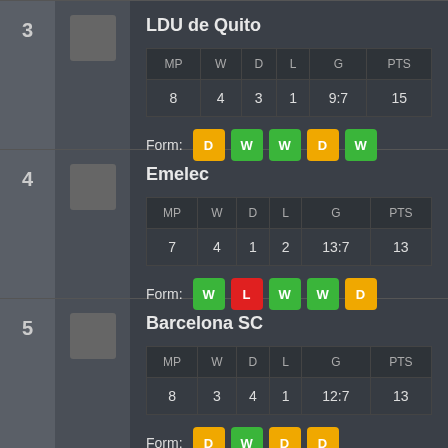| MP | W | D | L | G | PTS |
| --- | --- | --- | --- | --- | --- |
| 8 | 4 | 3 | 1 | 9:7 | 15 |
Form: D W W D W
| MP | W | D | L | G | PTS |
| --- | --- | --- | --- | --- | --- |
| 7 | 4 | 1 | 2 | 13:7 | 13 |
Form: W L W W D
| MP | W | D | L | G | PTS |
| --- | --- | --- | --- | --- | --- |
| 8 | 3 | 4 | 1 | 12:7 | 13 |